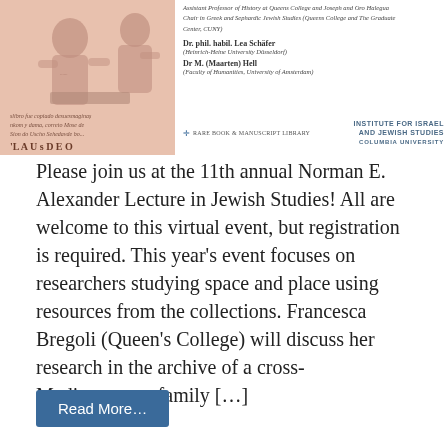[Figure (illustration): Historical illustration on pink/salmon background showing two figures, with handwritten text below, alongside event details for Norman E. Alexander Lecture. Speakers listed: Dr. phil. habil. Lea Schäfer (Heinrich-Heine University Düsseldorf), Dr M. (Maarten) Hell (Faculty of Humanities, University of Amsterdam). Logos: Rare Book & Manuscript Library, Institute for Israel and Jewish Studies, Columbia University.]
Please join us at the 11th annual Norman E. Alexander Lecture in Jewish Studies! All are welcome to this virtual event, but registration is required. This year's event focuses on researchers studying space and place using resources from the collections. Francesca Bregoli (Queen's College) will discuss her research in the archive of a cross-Mediterranean family […]
Read More…
Posted in Lectures and Events   Tagged Alexander_Lecture, Amsterdam, digital, immigration, Italy, manuscripts, North_Africa, Yiddish   Leave a comment